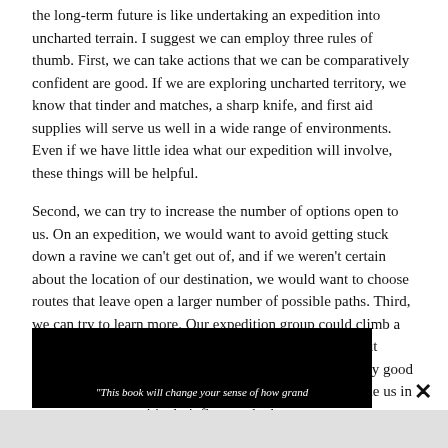the long-term future is like undertaking an expedition into uncharted terrain. I suggest we can employ three rules of thumb. First, we can take actions that we can be comparatively confident are good. If we are exploring uncharted territory, we know that tinder and matches, a sharp knife, and first aid supplies will serve us well in a wide range of environments. Even if we have little idea what our expedition will involve, these things will be helpful.
Second, we can try to increase the number of options open to us. On an expedition, we would want to avoid getting stuck down a ravine we can't get out of, and if we weren't certain about the location of our destination, we would want to choose routes that leave open a larger number of possible paths. Third, we can try to learn more. Our expedition group could climb a hill in order to get a better view of the terrain or scout out different routes ahead. These three lessons—take robustly good actions, build up options, and learn more—can help guide us in our attempts to positively influence the long term.
[Figure (photo): Dark/black image area with white italic text reading: "This book will change your sense of how grand"]